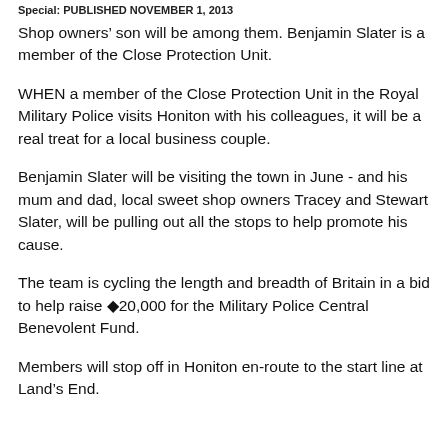Special: PUBLISHED NOVEMBER 1, 2013
Shop owners’ son will be among them. Benjamin Slater is a member of the Close Protection Unit.
WHEN a member of the Close Protection Unit in the Royal Military Police visits Honiton with his colleagues, it will be a real treat for a local business couple.
Benjamin Slater will be visiting the town in June - and his mum and dad, local sweet shop owners Tracey and Stewart Slater, will be pulling out all the stops to help promote his cause.
The team is cycling the length and breadth of Britain in a bid to help raise €20,000 for the Military Police Central Benevolent Fund.
Members will stop off in Honiton en-route to the start line at Land’s End.